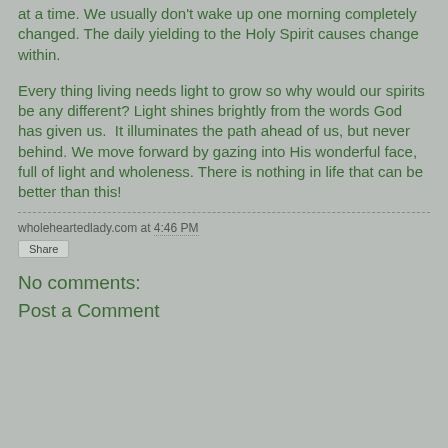at a time. We usually don't wake up one morning completely changed. The daily yielding to the Holy Spirit causes change within.
Every thing living needs light to grow so why would our spirits be any different? Light shines brightly from the words God has given us.  It illuminates the path ahead of us, but never behind. We move forward by gazing into His wonderful face, full of light and wholeness. There is nothing in life that can be better than this!
wholeheartedlady.com at 4:46 PM
Share
No comments:
Post a Comment